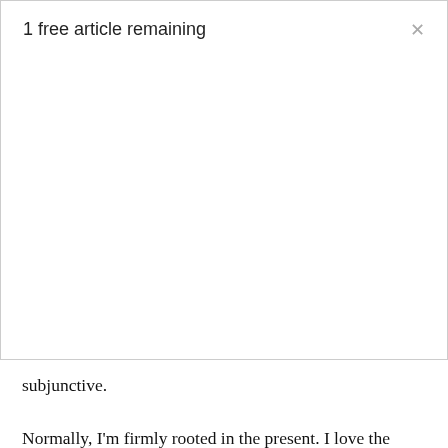1 free article remaining
subjunctive.
Normally, I'm firmly rooted in the present. I love the seasons for what they are — even